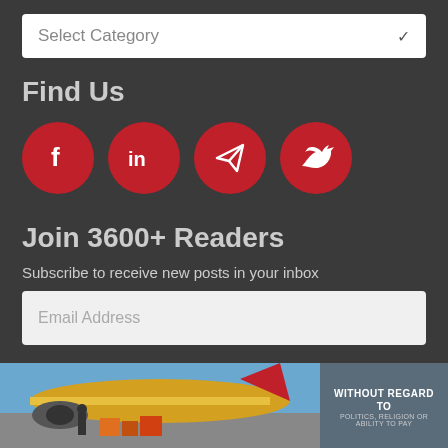Select Category
Find Us
[Figure (illustration): Four red circular social media icons: Facebook (f), LinkedIn (in), Telegram (paper plane), Twitter (bird)]
Join 3600+ Readers
Subscribe to receive new posts in your inbox
Email Address
[Figure (photo): Advertisement banner showing cargo aircraft being loaded on tarmac with text overlay 'WITHOUT REGARD TO POLITICS, RELIGION OR ABILITY TO PAY']